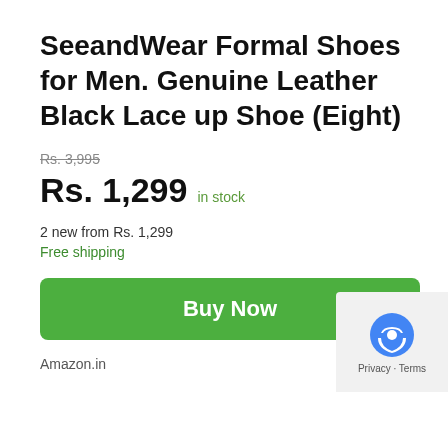SeeandWear Formal Shoes for Men. Genuine Leather Black Lace up Shoe (Eight)
Rs. 3,995
Rs. 1,299 in stock
2 new from Rs. 1,299
Free shipping
Buy Now
Amazon.in